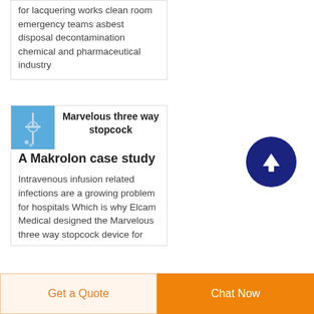for lacquering works clean room emergency teams asbest disposal decontamination chemical and pharmaceutical industry
Marvelous three way stopcock A Makrolon case study
Intravenous infusion related infections are a growing problem for hospitals Which is why Elcam Medical designed the Marvelous three way stopcock device for
[Figure (photo): Small product image of a medical stopcock device on blue background]
Get a Quote
Chat Now